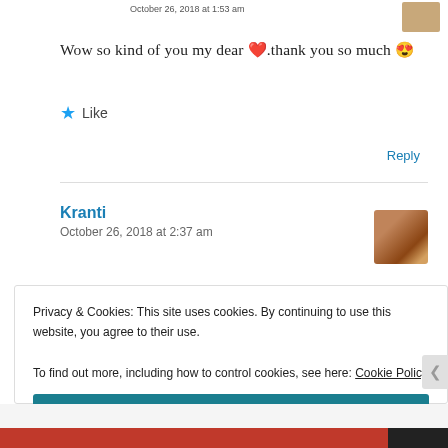October 26, 2018 at 1:53 am
Wow so kind of you my dear ❤️.thank you so much 😍
★ Like
Reply
Kranti
October 26, 2018 at 2:37 am
Privacy & Cookies: This site uses cookies. By continuing to use this website, you agree to their use.
To find out more, including how to control cookies, see here: Cookie Policy
Close and accept